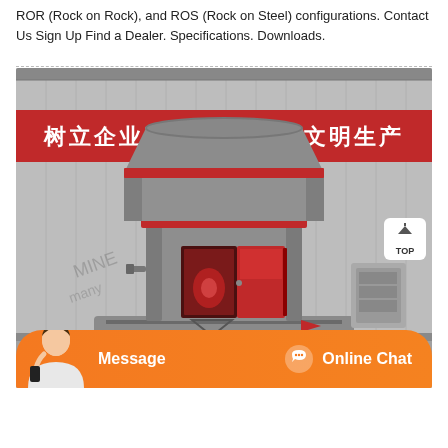ROR (Rock on Rock), and ROS (Rock on Steel) configurations. Contact Us Sign Up Find a Dealer. Specifications. Downloads.
[Figure (photo): Industrial photo of a large gray vertical mill machine (likely a Raymond or similar grinding mill) with red accent rings and an open red access door, inside a factory/warehouse. A red banner in the background reads '树立企业形象 促进安全文明生产' (Establish corporate image, promote safe and civilized production). A white TOP-back-to-top button is visible in the upper-right of the image. The bottom of the image shows an orange chat bar with a customer service representative, 'Message' text on the left and 'Online Chat' on the right.]